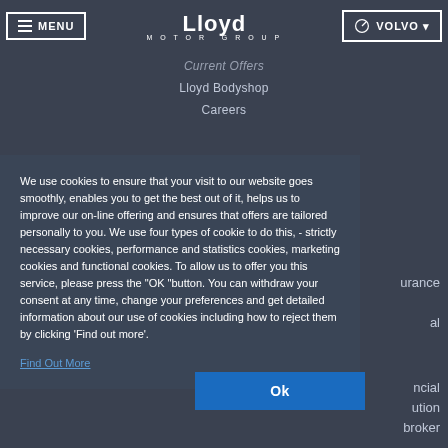MENU | Lloyd Motor Group | VOLVO
Current Offers
Lloyd Bodyshop
Careers
We use cookies to ensure that your visit to our website goes smoothly, enables you to get the best out of it, helps us to improve our on-line offering and ensures that offers are tailored personally to you. We use four types of cookie to do this, - strictly necessary cookies, performance and statistics cookies, marketing cookies and functional cookies. To allow us to offer you this service, please press the "OK "button. You can withdraw your consent at any time, change your preferences and get detailed information about our use of cookies including how to reject them by clicking 'Find out more'.
Find Out More
Ok
urance
al
ncial
ution
broker